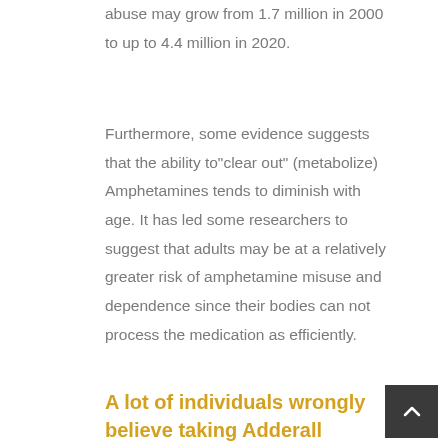abuse may grow from 1.7 million in 2000 to up to 4.4 million in 2020.
Furthermore, some evidence suggests that the ability to"clear out" (metabolize) Amphetamines tends to diminish with age. It has led some researchers to suggest that adults may be at a relatively greater risk of amphetamine misuse and dependence since their bodies can not process the medication as efficiently.
A lot of individuals wrongly believe taking Adderall without a